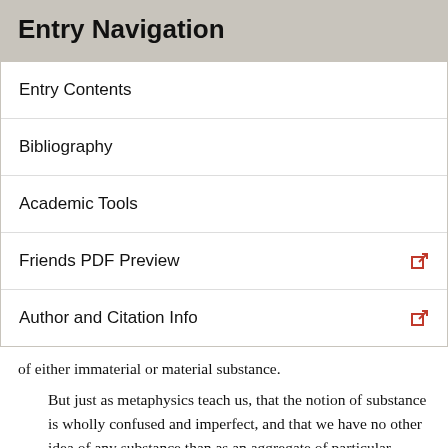Entry Navigation
Entry Contents
Bibliography
Academic Tools
Friends PDF Preview
Author and Citation Info
of either immaterial or material substance.
But just as metaphysics teach us, that the notion of substance is wholly confused and imperfect, and that we have no other idea of any substance than as an aggregate of particular qualities, inhering in an unknown something. Matter, therefore, and spirit are at bottom equally unknown; and we cannot determine what qualities may inhere in the one or in the other. (ESY, 591)
The important and intelligible issue, according to Hume